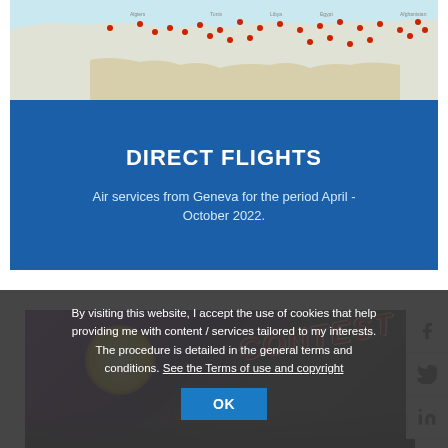[Figure (map): Map showing direct flight destinations from Geneva for April-October 2022, with red dots marking destination airports across Europe, North Africa, and the Middle East.]
DIRECT FLIGHTS
Air services from Geneva for the period April - October 2022.
[Figure (photo): Contest promotional image with 'CONTEST' text in red italic letters over a purple/dark background with a sun or light circle.]
By visiting this website, I accept the use of cookies that help providing me with content / services tailored to my interests. The procedure is detailed in the general terms and conditions. See the Terms of use and copyright